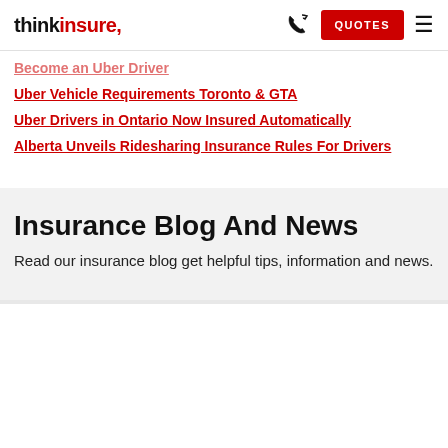thinkinsure. | QUOTES
Become an Uber Driver
Uber Vehicle Requirements Toronto & GTA
Uber Drivers in Ontario Now Insured Automatically
Alberta Unveils Ridesharing Insurance Rules For Drivers
Insurance Blog And News
Read our insurance blog get helpful tips, information and news.